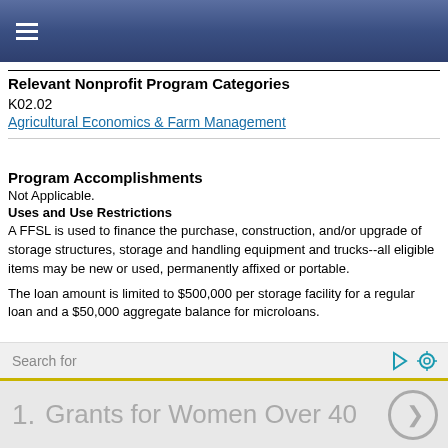Relevant Nonprofit Program Categories
K02.02
Agricultural Economics & Farm Management
Program Accomplishments
Not Applicable.
Uses and Use Restrictions
A FFSL is used to finance the purchase, construction, and/or upgrade of storage structures, storage and handling equipment and trucks--all eligible items may be new or used, permanently affixed or portable.
The loan amount is limited to $500,000 per storage facility for a regular loan and a $50,000 aggregate balance for microloans.